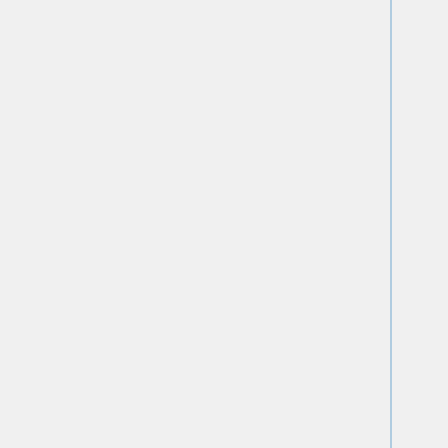| Prefix | Category | Example |
| --- | --- | --- |
| v.* | vector processing | v.clean: topological cleaning |
| i.* | imagery processing | i.segment: object recognition |
| db.* | database management | db.select: select values from table |
| r3.* | 3D raster processing | r3.stats: 3D raster statistics |
| t.* | temporal data processing | t.rast.aggregate: temporal aggregation |
| g.* | general data management | g.rename: renames map |
| d.* | display | d.rast: display raster map |